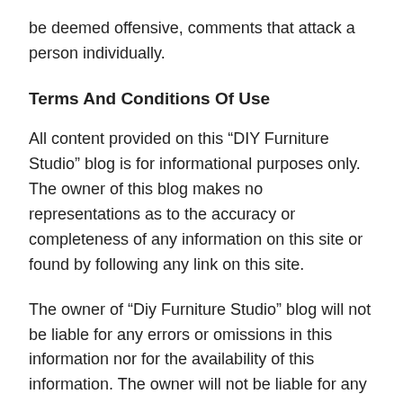be deemed offensive, comments that attack a person individually.
Terms And Conditions Of Use
All content provided on this “DIY Furniture Studio” blog is for informational purposes only. The owner of this blog makes no representations as to the accuracy or completeness of any information on this site or found by following any link on this site.
The owner of “Diy Furniture Studio” blog will not be liable for any errors or omissions in this information nor for the availability of this information. The owner will not be liable for any losses, injuries, or damages from the display or use of this information.